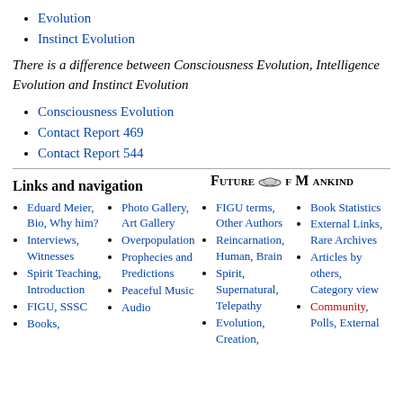Evolution
Instinct Evolution
There is a difference between Consciousness Evolution, Intelligence Evolution and Instinct Evolution
Consciousness Evolution
Contact Report 469
Contact Report 544
Links and navigation
[Figure (logo): Future Of Mankind logo with spacecraft icon]
Eduard Meier, Bio, Why him?
Interviews, Witnesses
Spirit Teaching, Introduction
FIGU, SSSC
Books,
Photo Gallery, Art Gallery
Overpopulation
Prophecies and Predictions
Peaceful Music
Audio
FIGU terms, Other Authors
Reincarnation, Human, Brain
Spirit, Supernatural, Telepathy
Evolution, Creation,
Book Statistics
External Links, Rare Archives
Articles by others, Category view
Community, Polls, External